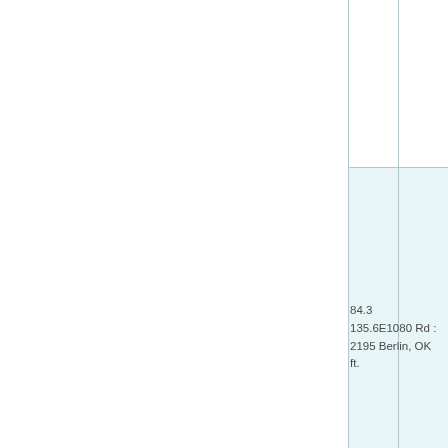| 84.3 |  |
| 135.6 | E1080 Rd : |
| 2195 | Berlin, OK |
| ft. |  |